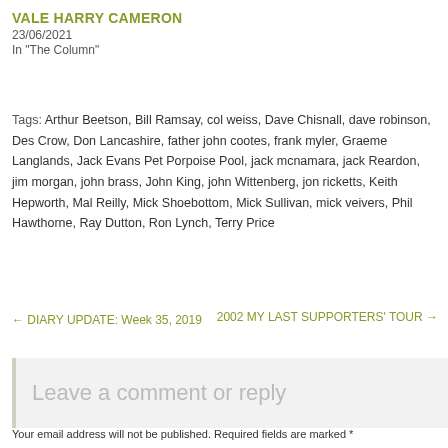VALE HARRY CAMERON
23/06/2021
In "The Column"
Tags: Arthur Beetson, Bill Ramsay, col weiss, Dave Chisnall, dave robinson, Des Crow, Don Lancashire, father john cootes, frank myler, Graeme Langlands, Jack Evans Pet Porpoise Pool, jack mcnamara, jack Reardon, jim morgan, john brass, John King, john Wittenberg, jon ricketts, Keith Hepworth, Mal Reilly, Mick Shoebottom, Mick Sullivan, mick veivers, Phil Hawthorne, Ray Dutton, Ron Lynch, Terry Price
← DIARY UPDATE: Week 35, 2019
2002 MY LAST SUPPORTERS' TOUR →
Leave a comment or reply
Your email address will not be published. Required fields are marked *